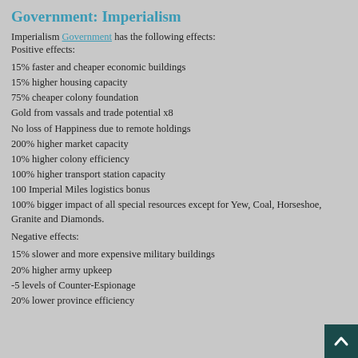Government: Imperialism
Imperialism Government has the following effects:
Positive effects:
15% faster and cheaper economic buildings
15% higher housing capacity
75% cheaper colony foundation
Gold from vassals and trade potential x8
No loss of Happiness due to remote holdings
200% higher market capacity
10% higher colony efficiency
100% higher transport station capacity
100 Imperial Miles logistics bonus
100% bigger impact of all special resources except for Yew, Coal, Horseshoe, Granite and Diamonds.
Negative effects:
15% slower and more expensive military buildings
20% higher army upkeep
-5 levels of Counter-Espionage
20% lower province efficiency